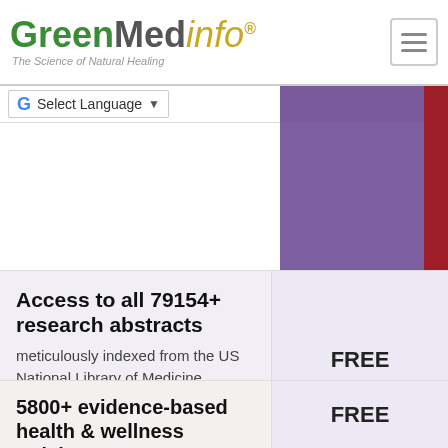[Figure (logo): GreenMedInfo logo with tagline 'The Science of Natural Healing']
Select Language
Access to all 79154+ research abstracts meticulously indexed from the US National Library of Medicine (https://pubmed.gov)
FREE
5800+ evidence-based health & wellness articles written by prominent practitioners & authors in natural medicine
FREE